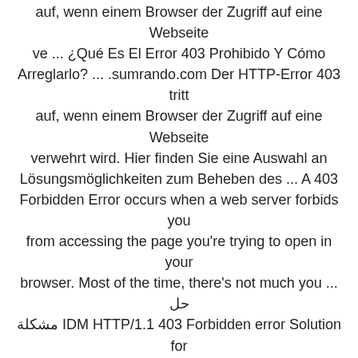auf, wenn einem Browser der Zugriff auf eine Webseite ve ... ¿Qué Es El Error 403 Prohibido Y Cómo Arreglarlo? ... .sumrando.com Der HTTP-Error 403 tritt auf, wenn einem Browser der Zugriff auf eine Webseite verwehrt wird. Hier finden Sie eine Auswahl an Lösungsmöglichkeiten zum Beheben des ... A 403 Forbidden Error occurs when a web server forbids you from accessing the page you're trying to open in your browser. Most of the time, there's not much you ... حل مشكلة IDM HTTP/1.1 403 Forbidden error Solution for idm error http 1.1 403 forbidden Internet Download Manager by:zita mohammed http ... Struggling with the 403 Forbidden error on WordPress? Here's how to fix it. Detailed, step-by-step instructions with tons of screenshots to help you along.          Web      403       403          ZippyShare is showing 403 Forbidden message to visitors from the UK, Germany and Spain. Is it totally down? NO. You can access zippyshare by this method. L'erreur HTTP 403 se produit